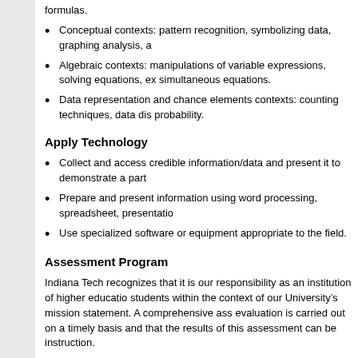formulas.
Conceptual contexts: pattern recognition, symbolizing data, graphing analysis, a
Algebraic contexts: manipulations of variable expressions, solving equations, ex simultaneous equations.
Data representation and chance elements contexts: counting techniques, data dis probability.
Apply Technology
Collect and access credible information/data and present it to demonstrate a part
Prepare and present information using word processing, spreadsheet, presentatio
Use specialized software or equipment appropriate to the field.
Assessment Program
Indiana Tech recognizes that it is our responsibility as an institution of higher educatio students within the context of our University’s mission statement. A comprehensive ass evaluation is carried out on a timely basis and that the results of this assessment can be instruction.
The goal of the assessment plan at Indiana Tech is to enhance further the academic anc means for continually refining and improving the university.
Day (Traditional) Graduation Policies